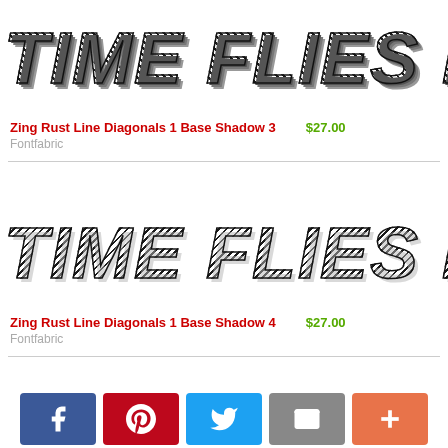[Figure (illustration): Font preview showing 'TIME FLIES LIKE AN ARRO' in large bold italic textured style for Zing Rust Line Diagonals 1 Base Shadow 3]
Zing Rust Line Diagonals 1 Base Shadow 3   $27.00
Fontfabric
[Figure (illustration): Font preview showing 'TIME FLIES LIKE AN ARRO' in large bold italic textured style for Zing Rust Line Diagonals 1 Base Shadow 4]
Zing Rust Line Diagonals 1 Base Shadow 4   $27.00
Fontfabric
[Figure (illustration): Partial font preview showing 'TIME FLIES LIKE AN ARRO' for the next font entry]
[Figure (infographic): Social sharing bar with Facebook, Pinterest, Twitter, Email, and plus buttons]